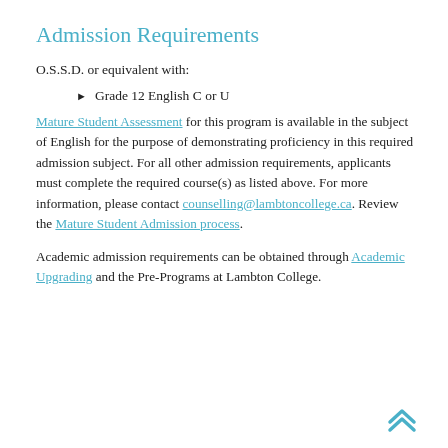Admission Requirements
O.S.S.D. or equivalent with:
Grade 12 English C or U
Mature Student Assessment for this program is available in the subject of English for the purpose of demonstrating proficiency in this required admission subject. For all other admission requirements, applicants must complete the required course(s) as listed above. For more information, please contact counselling@lambtoncollege.ca. Review the Mature Student Admission process.
Academic admission requirements can be obtained through Academic Upgrading and the Pre-Programs at Lambton College.